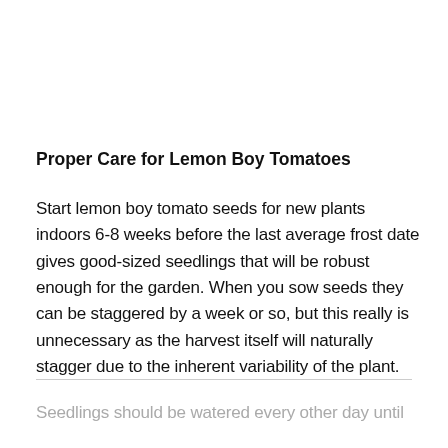Proper Care for Lemon Boy Tomatoes
Start lemon boy tomato seeds for new plants indoors 6-8 weeks before the last average frost date gives good-sized seedlings that will be robust enough for the garden. When you sow seeds they can be staggered by a week or so, but this really is unnecessary as the harvest itself will naturally stagger due to the inherent variability of the plant.
Seedlings should be watered every other day until